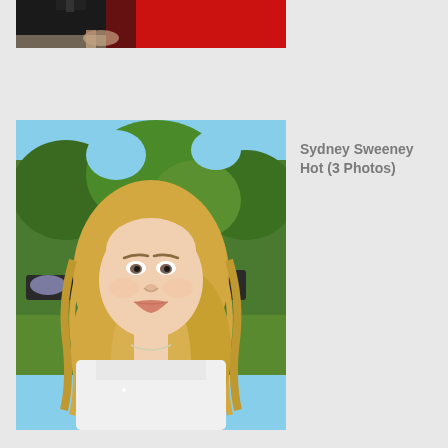[Figure (photo): Partial photo cropped at top showing a person in black outfit with red background visible]
[Figure (photo): Photo of a young blonde woman with long wavy hair sitting outdoors near a pool area with green trees in background, wearing white top]
Sydney Sweeney Hot (3 Photos)